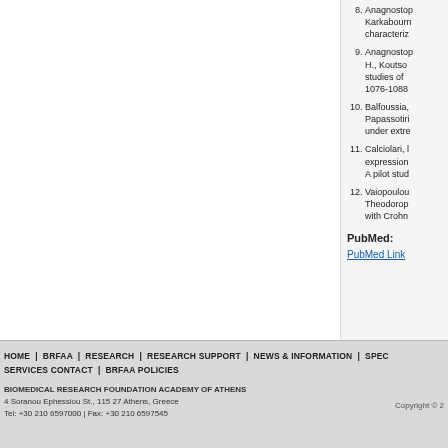8. Anagnostopoulou, Karkabounas, characteriz...
9. Anagnostopoulou H., Koutso... studies of 1076-1088
10. Balfoussia, Papassotiri... under extre...
11. Calciolari, D... expression... A pilot stu...
12. Vaiopoulou... Theodorop... with Crohn...
PubMed:
PubMed Link
HOME | BRFAA | RESEARCH | RESEARCH SUPPORT | NEWS & INFORMATION | SPEC... SERVICES CONTACT | BRFAA POLICIES
BIOMEDICAL RESEARCH FOUNDATION ACADEMY OF ATHENS
4 Soranou Ephessiou St., 115 27 Athens, Greece
Tel: +30 210 6597000 | Fax: +30 210 6597545
Copyright © 2...